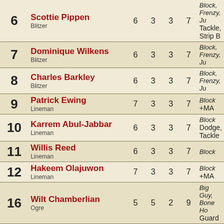| # | Name/Role | MA | ST | AG | AV | Skills |
| --- | --- | --- | --- | --- | --- | --- |
| 6 | Scottie Pippen / Blitzer | 6 | 3 | 3 | 7 | Block, Frenzy, Ju... Tackle, Strip B... |
| 7 | Dominique Wilkens / Blitzer | 6 | 3 | 3 | 7 | Block, Frenzy, Ju... |
| 8 | Charles Barkley / Blitzer | 6 | 3 | 3 | 7 | Block, Frenzy, Ju... |
| 9 | Patrick Ewing / Lineman | 7 | 3 | 3 | 7 | Block +MA |
| 10 | Karrem Abul-Jabbar / Lineman | 6 | 3 | 3 | 7 | Block Dodge, Tackle... |
| 11 | Willis Reed / Lineman | 6 | 3 | 3 | 7 | Block |
| 12 | Hakeem Olajuwon / Lineman | 7 | 3 | 3 | 7 | Block +MA |
| 16 | Wilt Chamberlian / Ogre | 5 | 5 | 2 | 9 | Big Guy, Bone H... Guard |
11 players (+1 player missing next game)
| Label | Value |
| --- | --- |
| Coach: | Bee... |
| Race: | No... |
| Current Team Value: | 0k / ... |